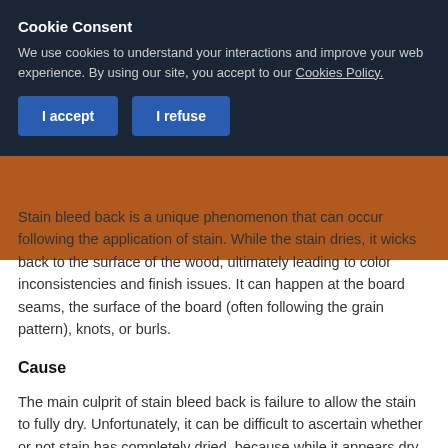Cookie Consent
We use cookies to understand your interactions and improve your web experience. By using our site, you accept to our Cookies Policy.
[I accept] [I refuse]
Stain bleed back is a unique phenomenon that can occur following the application of stain. While the stain dries, it wicks back to the surface of the wood, ultimately leading to color inconsistencies and finish issues. It can happen at the board seams, the surface of the board (often following the grain pattern), knots, or burls.
Cause
The main culprit of stain bleed back is failure to allow the stain to fully dry. Unfortunately, it can be difficult to ascertain whether or not stain has completely dried, because while it appears dry on the surface of the wood, an abundance of stain deep in the cell cavities is often still liquid.
Rushing to coat over undried stain too soon will only exacerbate the issue, as the stain that has "bled back" and the trapped solvents therein can create severe long-term issues, including poly-beading, peeling, and